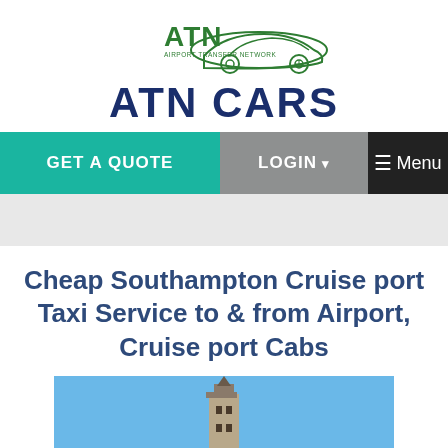[Figure (logo): ATN Cars logo with green car silhouette and text 'AIRPORT TRANSFER NETWORK' and 'ATN CARS' in dark blue bold letters]
[Figure (screenshot): Navigation bar with teal 'GET A QUOTE' button, gray 'LOGIN' dropdown button, and white '☰ Menu' on dark background]
Cheap Southampton Cruise port Taxi Service to & from Airport, Cruise port Cabs
[Figure (photo): Photo of a church tower/steeple against a blue sky, partially visible at the bottom of the page]